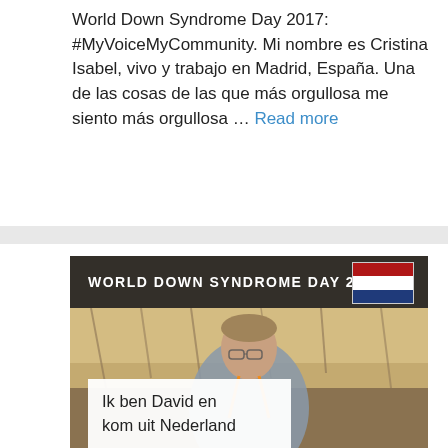World Down Syndrome Day 2017: #MyVoiceMyCommunity. Mi nombre es Cristina Isabel, vivo y trabajo en Madrid, España. Una de las cosas de las que más orgullosa me siento más orgullosa ... Read more
[Figure (photo): Photo of a man with Down syndrome holding a sign reading 'Ik ben David en kom uit Nederland', with a World Down Syndrome Day 2017 banner overlay and Netherlands flag in the top right corner.]